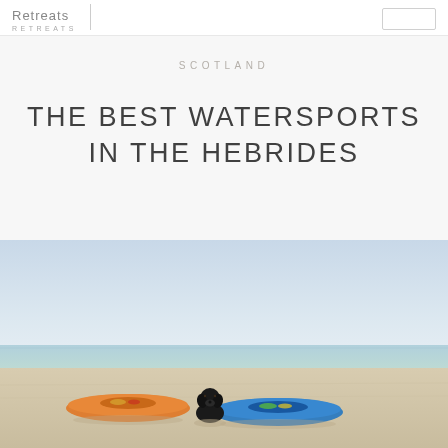Retreats
SCOTLAND
THE BEST WATERSPORTS IN THE HEBRIDES
[Figure (photo): A black Labrador dog sitting on a sandy beach between an orange kayak on the left and a blue kayak on the right, with calm turquoise sea water and a light blue sky in the background.]